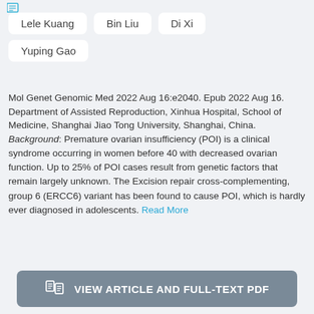Lele Kuang   Bin Liu   Di Xi   Yuping Gao
Mol Genet Genomic Med 2022 Aug 16:e2040. Epub 2022 Aug 16.
Department of Assisted Reproduction, Xinhua Hospital, School of Medicine, Shanghai Jiao Tong University, Shanghai, China.
Background: Premature ovarian insufficiency (POI) is a clinical syndrome occurring in women before 40 with decreased ovarian function. Up to 25% of POI cases result from genetic factors that remain largely unknown. The Excision repair cross-complementing, group 6 (ERCC6) variant has been found to cause POI, which is hardly ever diagnosed in adolescents. Read More
VIEW ARTICLE AND FULL-TEXT PDF